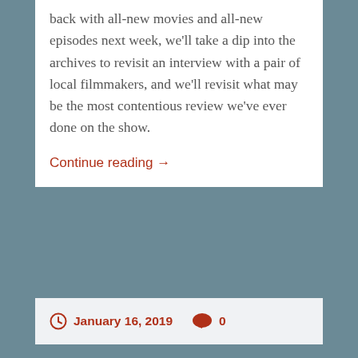back with all-new movies and all-new episodes next week, we'll take a dip into the archives to revisit an interview with a pair of local filmmakers, and we'll revisit what may be the most contentious review we've ever done on the show.
Continue reading →
January 16, 2019   0
End Credits Show Notes for Wednesday December 26, 2018
[Figure (photo): A collage of four film/movie related photographs in a strip]